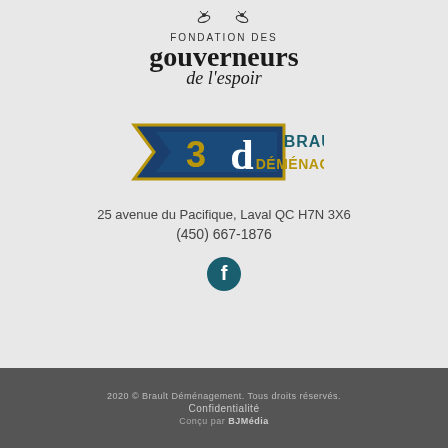[Figure (logo): Fondation des gouverneurs de l'espoir logo with small decorative bird figures at top, bold 'gouverneurs' text and italic 'de l'espoir' script below]
[Figure (logo): Brault Déménagement logo: stylized '3d' emblem in blue and gold on left, bold 'BRAULT DÉMÉNAGEMENT' text in teal/gold on right]
25 avenue du Pacifique, Laval QC H7N 3X6
(450) 667-1876
[Figure (logo): Facebook circular icon in dark teal/blue with white 'f' lettermark]
2020 © Brault Déménagement. Tous droits réservés. Confidentialité Conçu par BJMédia